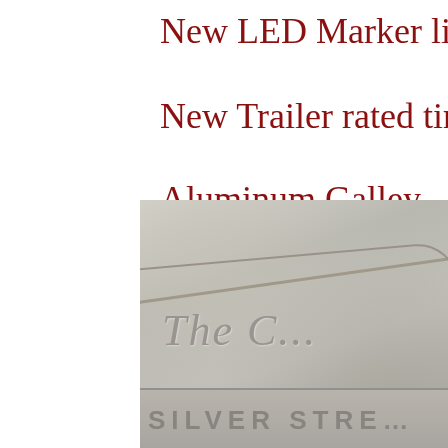New LED Marker ligh…
New Trailer rated tires
Aluminum Galley…. N…
[Figure (photo): Close-up photograph of an embossed aluminum galley plate showing cursive script text reading 'The C...' and block letters reading 'SILVER STRE...' at the bottom]